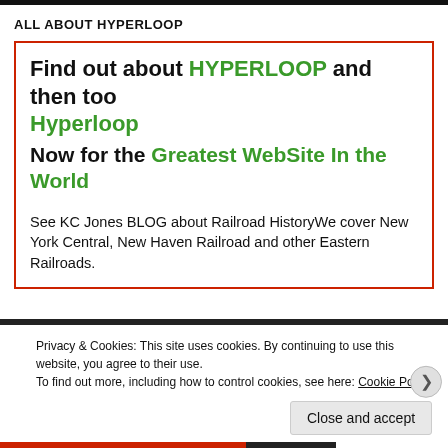ALL ABOUT HYPERLOOP
Find out about HYPERLOOP and then too Hyperloop
Now for the Greatest WebSite In the World
See KC Jones BLOG about Railroad HistoryWe cover New York Central, New Haven Railroad and other Eastern Railroads.
Privacy & Cookies: This site uses cookies. By continuing to use this website, you agree to their use.
To find out more, including how to control cookies, see here: Cookie Policy
Close and accept